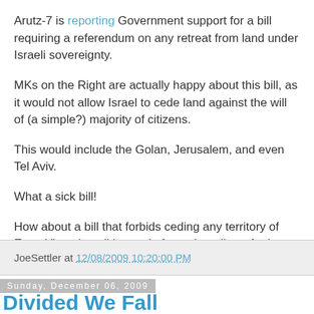Arutz-7 is reporting Government support for a bill requiring a referendum on any retreat from land under Israeli sovereignty.
MKs on the Right are actually happy about this bill, as it would not allow Israel to cede land against the will of (a simple?) majority of citizens.
This would include the Golan, Jerusalem, and even Tel Aviv.
What a sick bill!
How about a bill that forbids ceding any territory of Eretz Yisrael at all instead of one that allows for it to happen.
JoeSettler at 12/08/2009 10:20:00 PM
Sunday, December 06, 2009
Divided We Fall